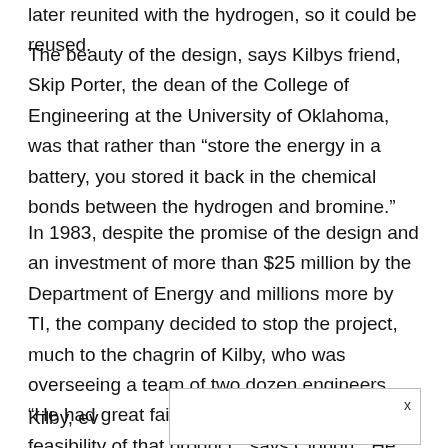later reunited with the hydrogen, so it could be reused.
The beauty of the design, says Kilbys friend, Skip Porter, the dean of the College of Engineering at the University of Oklahoma, was that rather than “store the energy in a battery, you stored it back in the chemical bonds between the hydrogen and bromine.”
In 1983, despite the promise of the design and an investment of more than $25 million by the Department of Energy and millions more by TI, the company decided to stop the project, much to the chagrin of Kilby, who was overseeing a team of two dozen engineers. “He had great faith in the commercial feasibility of that product,” says Clough. “He was really upset with TI for pulling the plug on it. But TI was going through tough times.”
Kilby, ev… cell